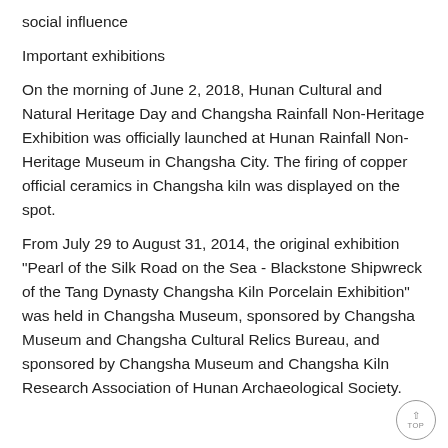social influence
Important exhibitions
On the morning of June 2, 2018, Hunan Cultural and Natural Heritage Day and Changsha Rainfall Non-Heritage Exhibition was officially launched at Hunan Rainfall Non-Heritage Museum in Changsha City. The firing of copper official ceramics in Changsha kiln was displayed on the spot.
From July 29 to August 31, 2014, the original exhibition "Pearl of the Silk Road on the Sea - Blackstone Shipwreck of the Tang Dynasty Changsha Kiln Porcelain Exhibition" was held in Changsha Museum, sponsored by Changsha Museum and Changsha Cultural Relics Bureau, and sponsored by Changsha Museum and Changsha Kiln Research Association of Hunan Archaeological Society.